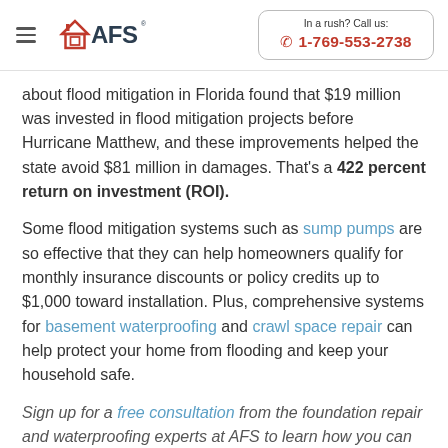AFS | In a rush? Call us: 1-769-553-2738
about flood mitigation in Florida found that $19 million was invested in flood mitigation projects before Hurricane Matthew, and these improvements helped the state avoid $81 million in damages. That's a 422 percent return on investment (ROI).
Some flood mitigation systems such as sump pumps are so effective that they can help homeowners qualify for monthly insurance discounts or policy credits up to $1,000 toward installation. Plus, comprehensive systems for basement waterproofing and crawl space repair can help protect your home from flooding and keep your household safe.
Sign up for a free consultation from the foundation repair and waterproofing experts at AFS to learn how you can